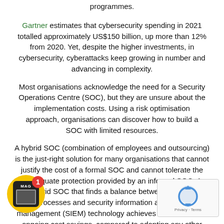programmes.
Gartner estimates that cybersecurity spending in 2021 totalled approximately US$150 billion, up more than 12% from 2020. Yet, despite the higher investments, in cybersecurity, cyberattacks keep growing in number and advancing in complexity.
Most organisations acknowledge the need for a Security Operations Centre (SOC), but they are unsure about the implementation costs. Using a risk optimisation approach, organisations can discover how to build a SOC with limited resources.
A hybrid SOC (combination of employees and outsourcing) is the just-right solution for many organisations that cannot justify the cost of a formal SOC and cannot tolerate the inadequate protection provided by an informal SOC. A hybrid SOC that finds a balance between people, processes and security information and event management (SIEM) technology achieves immediate and ongoing cost savings, compared to adopting any other SOC model.
nies need to pivot and learn how to maximise cybe... ng in an era of costly cyberattacks. While the actual... ploying necessary security policies are measurable, the cost to...